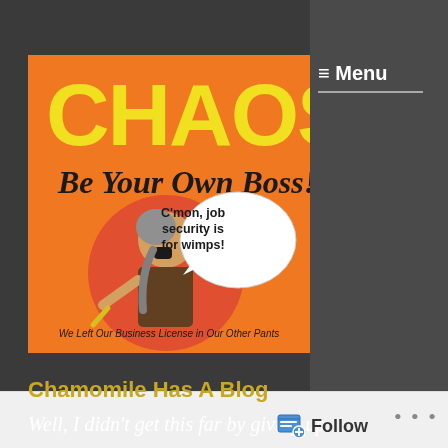[Figure (illustration): Book cover for 'CHAOS: Be Your Own Boss!' with cartoon character saying 'C'mon, job security is for wimps!' and subtitle 'We Left Our Business License in Our Other Pants']
≡ Menu
Chamomile Has A Blog
Well, I didn't get this far by giving up
Follow
•••